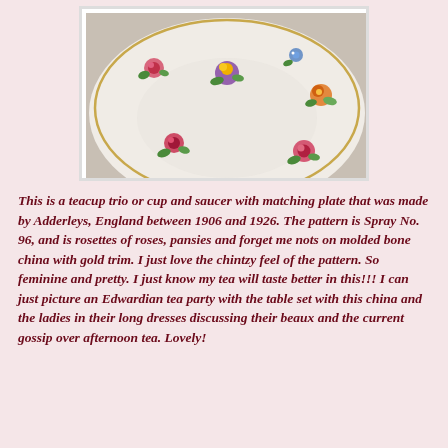[Figure (photo): A close-up photo of a white bone china saucer with a floral pattern (Spray No. 96) featuring rosettes of roses, pansies, and forget-me-nots with a gold trim border, made by Adderleys England between 1906 and 1926.]
This is a teacup trio or cup and saucer with matching plate that was made by Adderleys, England between 1906 and 1926. The pattern is Spray No. 96, and is rosettes of roses, pansies and forget me nots on molded bone china with gold trim. I just love the chintzy feel of the pattern. So feminine and pretty. I just know my tea will taste better in this!!! I can just picture an Edwardian tea party with the table set with this china and the ladies in their long dresses discussing their beaux and the current gossip over afternoon tea. Lovely!